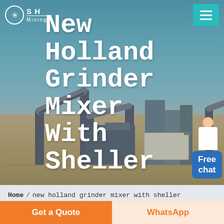[Figure (screenshot): Website header/hero section for SHM Mining showing an industrial quarry/mining plant with conveyor belts and machinery in the background. Navigation bar at top with logo and hamburger menu. Large white bold text reads 'New Holland Grinder Mixer With Sheller' overlaid on the scene. A customer service representative chat bubble in bottom right showing 'Free chat'.]
S H Mining
New Holland Grinder Mixer With Sheller
Free chat
Home / new holland grinder mixer with sheller
Different Machines To Meet All Need
Get a Quote
WhatsApp